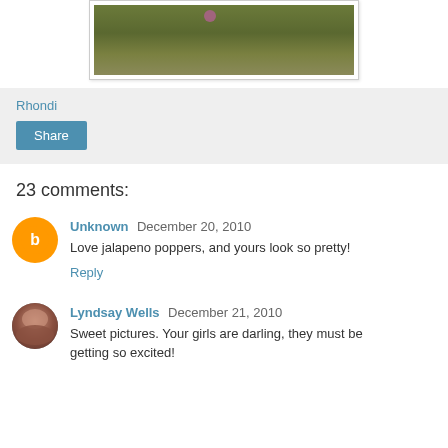[Figure (photo): Partial photo of ground/moss with something pink visible, shown in a bordered photo frame]
Rhondi
Share
23 comments:
Unknown  December 20, 2010
Love jalapeno poppers, and yours look so pretty!
Reply
Lyndsay Wells  December 21, 2010
Sweet pictures. Your girls are darling, they must be getting so excited!